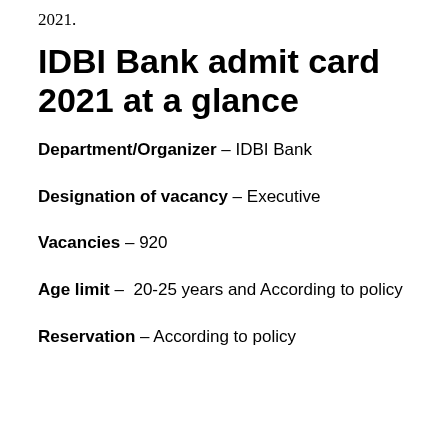2021.
IDBI Bank admit card 2021 at a glance
Department/Organizer – IDBI Bank
Designation of vacancy – Executive
Vacancies – 920
Age limit – 20-25 years and According to policy
Reservation – According to policy